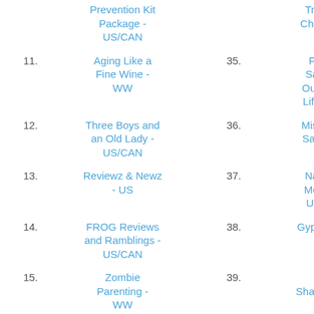Prevention Kit Package - US/CAN
Treasure Chest - US
Lifestyle - WW
11. Aging Like a Fine Wine - WW
35. Finding Sanity In Our Crazy Life - WW
59. It's Free At Last - US
83
12. Three Boys and an Old Lady - US/CAN
36. Miss Molly Says - US
60. Homeschool Insights - US
84
13. Reviewz & Newz - US
37. Nanny to Mommy - US/CAN
61. Candid Mama - US
85
14. FROG Reviews and Ramblings - US/CAN
38. Gypsy Road - US
62. Heck Of A Bunch - US
86
15. Zombie Parenting - WW
39. Deal Sharing Aunt - US
63. the Candid Cover - WW
87
3 Partners In
In The Know